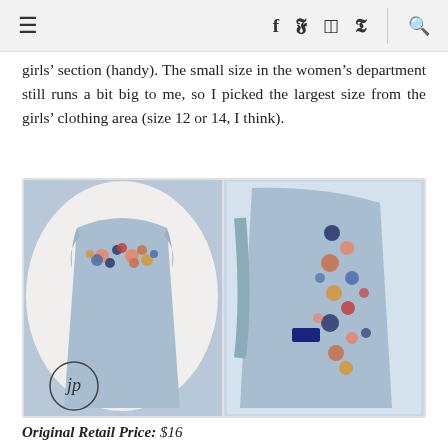≡   f  y  ☷  p   🔍
girls' section (handy). The small size in the women's department still runs a bit big to me, so I picked the largest size from the girls' clothing area (size 12 or 14, I think).
[Figure (photo): Two photos of a light blue sleeveless tank top with colorful floral embroidery. Left image shows the front of the tank top laid flat with embroidery at the neckline. Right image shows the back of the tank top folded, with embroidery running vertically.]
Original Retail Price: $16